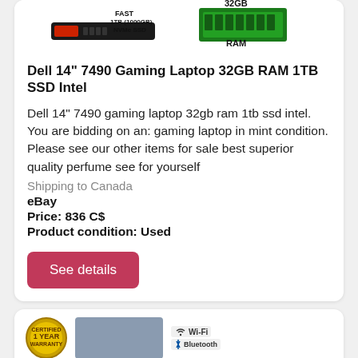[Figure (photo): Product image showing a gaming laptop with SSD and RAM components labeled: FAST 1TB (1000GB) NVMe SSD and 32GB RAM]
Dell 14" 7490 Gaming Laptop 32GB RAM 1TB SSD Intel
Dell 14" 7490 gaming laptop 32gb ram 1tb ssd intel. You are bidding on an: gaming laptop in mint condition. Please see our other items for sale best superior quality perfume see for yourself
Shipping to Canada
eBay
Price: 836 C$
Product condition: Used
[Figure (photo): Second product listing showing a laptop with 1 Year Warranty badge, Wi-Fi and Bluetooth icons]